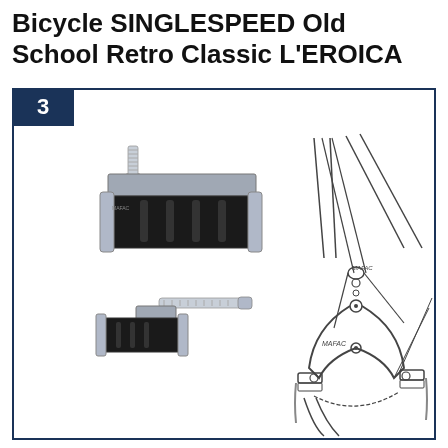Bicycle SINGLESPEED Old School Retro Classic L'EROICA
[Figure (illustration): Product listing image showing bicycle brake pads/shoes - two metal and rubber brake blocks with threaded bolts, alongside a detailed technical line drawing/illustration of a MAFAC vintage bicycle brake caliper assembly mounted on a bicycle fork with cables.]